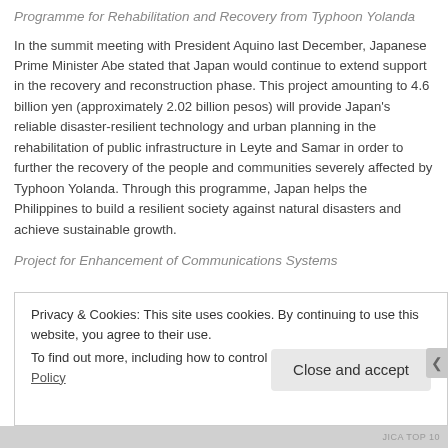Programme for Rehabilitation and Recovery from Typhoon Yolanda
In the summit meeting with President Aquino last December, Japanese Prime Minister Abe stated that Japan would continue to extend support in the recovery and reconstruction phase. This project amounting to 4.6 billion yen (approximately 2.02 billion pesos) will provide Japan's reliable disaster-resilient technology and urban planning in the rehabilitation of public infrastructure in Leyte and Samar in order to further the recovery of the people and communities severely affected by Typhoon Yolanda. Through this programme, Japan helps the Philippines to build a resilient society against natural disasters and achieve sustainable growth.
Project for Enhancement of Communications Systems
Privacy & Cookies: This site uses cookies. By continuing to use this website, you agree to their use.
To find out more, including how to control cookies, see here: Cookie Policy
Close and accept